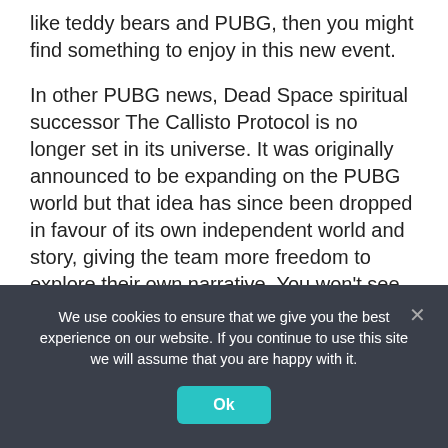like teddy bears and PUBG, then you might find something to enjoy in this new event.
In other PUBG news, Dead Space spiritual successor The Callisto Protocol is no longer set in its universe. It was originally announced to be expanding on the PUBG world but that idea has since been dropped in favour of its own independent world and story, giving the team more freedom to explore their own narrative. You won't see any Spetsnaz helmets.
Source: Read Full Article
We use cookies to ensure that we give you the best experience on our website. If you continue to use this site we will assume that you are happy with it.